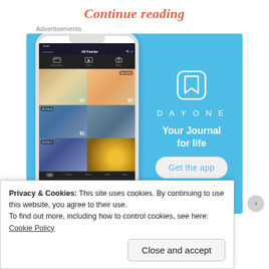Continue reading
Advertisements
[Figure (screenshot): DayOne app advertisement banner on light blue background showing a phone mockup with journal entries and photos grid, DayOne logo with bookmark icon, tagline 'Your Journal for life', and a 'Get the app' button.]
Privacy & Cookies: This site uses cookies. By continuing to use this website, you agree to their use.
To find out more, including how to control cookies, see here: Cookie Policy
Close and accept